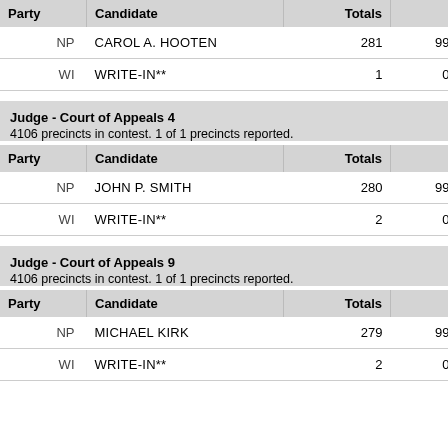| Party | Candidate | Totals | Pct |
| --- | --- | --- | --- |
| NP | CAROL A. HOOTEN | 281 | 99.65% |
| WI | WRITE-IN** | 1 | 0.35% |
Judge - Court of Appeals 4
4106 precincts in contest. 1 of 1 precincts reported.
| Party | Candidate | Totals | Pct |
| --- | --- | --- | --- |
| NP | JOHN P. SMITH | 280 | 99.29% |
| WI | WRITE-IN** | 2 | 0.71% |
Judge - Court of Appeals 9
4106 precincts in contest. 1 of 1 precincts reported.
| Party | Candidate | Totals | Pct |
| --- | --- | --- | --- |
| NP | MICHAEL KIRK | 279 | 99.29% |
| WI | WRITE-IN** | 2 | 0.71% |